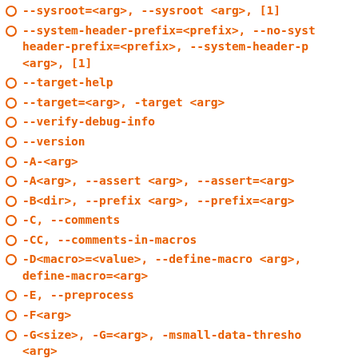--sysroot=<arg>, --sysroot <arg>, [1]
--system-header-prefix=<prefix>, --no-system-header-prefix=<prefix>, --system-header-prefix <arg>, [1]
--target-help
--target=<arg>, -target <arg>
--verify-debug-info
--version
-A-<arg>
-A<arg>, --assert <arg>, --assert=<arg>
-B<dir>, --prefix <arg>, --prefix=<arg>
-C, --comments
-CC, --comments-in-macros
-D<macro>=<value>, --define-macro <arg>, --define-macro=<arg>
-E, --preprocess
-F<arg>
-G<size>, -G=<arg>, -msmall-data-threshold <arg>
-H, --trace-includes
-I-, --include-barrier
-I<dir>, --include-directory <arg>, --include-